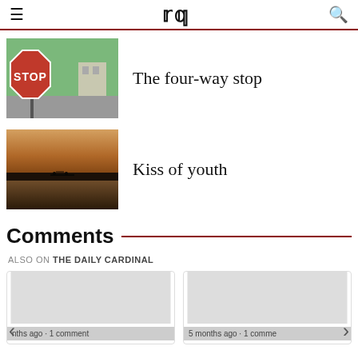DC
[Figure (photo): Red stop sign with green trees and building in background]
The four-way stop
[Figure (photo): Lake sunset scene with silhouette of people on paddleboard/kayak]
Kiss of youth
Comments
ALSO ON THE DAILY CARDINAL
[Figure (screenshot): Comment card thumbnail with footer: nths ago · 1 comment]
[Figure (screenshot): Comment card thumbnail with footer: 5 months ago · 1 comme]